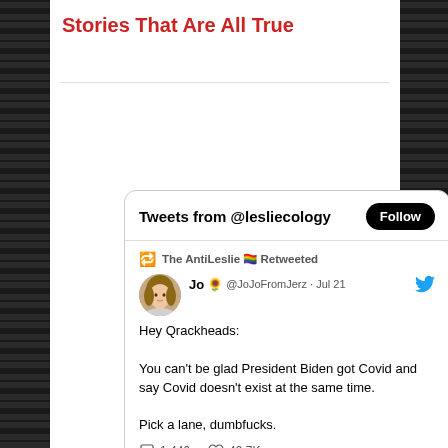Stories That Are All True
[Figure (screenshot): Tweet card from @lesliecology showing a retweet by The AntiLeslie of a tweet by Jo @JoJoFromJerz dated Jul 21 saying: 'Hey Qrackheads: You can't be glad President Biden got Covid and say Covid doesn't exist at the same time. Pick a lane, dumbfucks.' with 1,446 replies and 49.7K likes.]